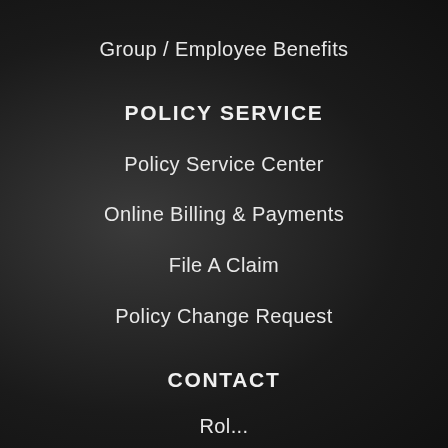Group / Employee Benefits
POLICY SERVICE
Policy Service Center
Online Billing & Payments
File A Claim
Policy Change Request
CONTACT
Rol...